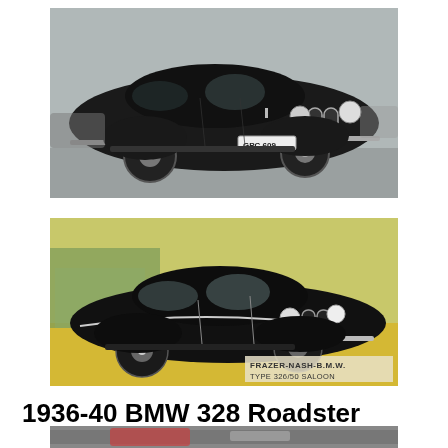[Figure (photo): Black and white photograph of a black vintage BMW saloon car (BMW 326 or similar), registration plate GPC 609, parked on a road or airfield. The car faces right, showing its distinctive kidney grille.]
[Figure (illustration): Colour illustration of a black Frazer-Nash-BMW Type 326/50 Saloon car on a yellow/green background. The car faces right. Text at bottom right reads 'FRAZER-NASH-B.M.W. TYPE 326/50 SALOON'.]
1936-40 BMW 328 Roadster
[Figure (photo): Partial view of a third photograph at the very bottom of the page, cropped — appears to show another vintage car.]